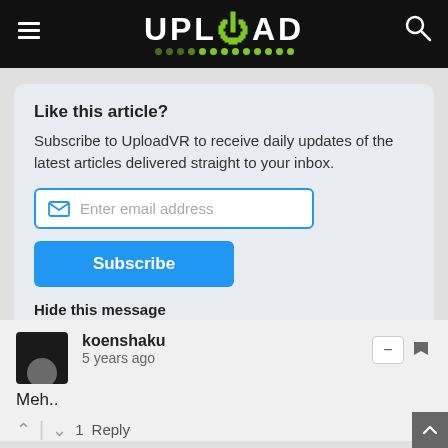UPLOAD
Like this article?
Subscribe to UploadVR to receive daily updates of the latest articles delivered straight to your inbox.
Subscribe
Hide this message
koenshaku
5 years ago
Meh..
1  Reply